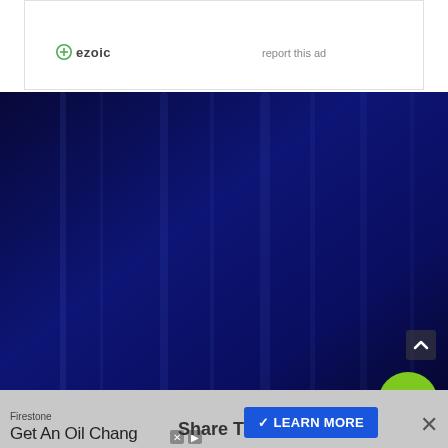[Figure (screenshot): Ezoic ad placeholder box at top, white background with Ezoic logo and 'report this ad' link]
[Figure (photo): Dark blue forest/curtain background image filling middle section]
[Figure (screenshot): Ezoic logo and report this ad text at bottom of dark section with green circle icon]
[Figure (screenshot): Firestone banner ad at bottom: 'Get An Oil Change' with LEARN MORE button, Share This overlay, and X close button]